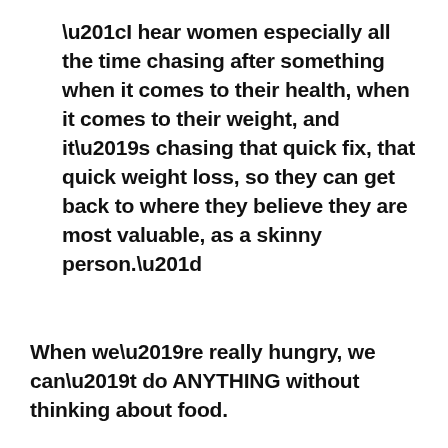“I hear women especially all the time chasing after something when it comes to their health, when it comes to their weight, and it’s chasing that quick fix, that quick weight loss, so they can get back to where they believe they are most valuable, as a skinny person.”
When we’re really hungry, we can’t do ANYTHING without thinking about food.